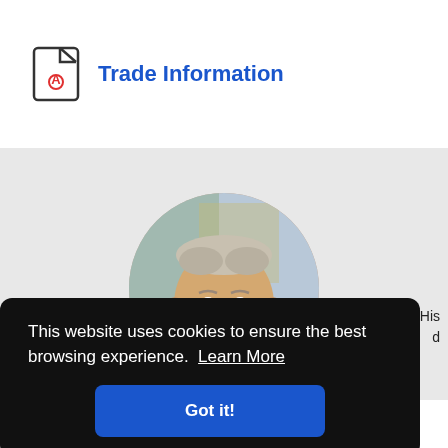Trade Information
[Figure (photo): Circular profile photo of an older man with short grey hair, smiling slightly, photographed outdoors against a blurred background.]
This website uses cookies to ensure the best browsing experience.  Learn More
Got it!
rs. His d North America, where he has a particular fascination for